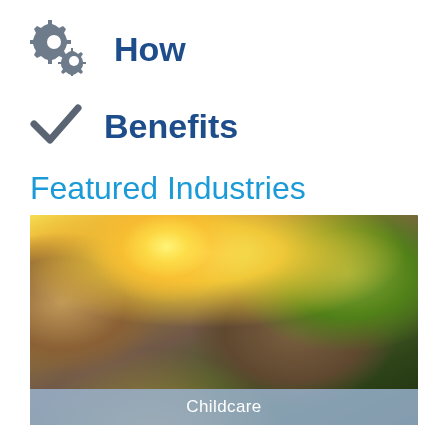How
Benefits
Featured Industries
[Figure (photo): A parent holding up a young child outdoors with sunlight and trees in the background, with a caption bar reading 'Childcare']
Childcare